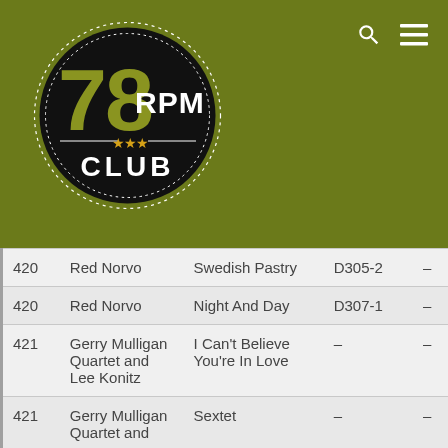[Figure (logo): 78 RPM Club logo — black circle with dotted border, olive/gold '78' numeral, white 'RPM' text, gold stars, white 'CLUB' text, on olive green background]
| # | Artist | Title | Cat |  |
| --- | --- | --- | --- | --- |
| 420 | Red Norvo | Swedish Pastry | D305-2 | – |
| 420 | Red Norvo | Night And Day | D307-1 | – |
| 421 | Gerry Mulligan Quartet and Lee Konitz | I Can't Believe You're In Love | – | – |
| 421 | Gerry Mulligan Quartet and | Sextet | – | – |